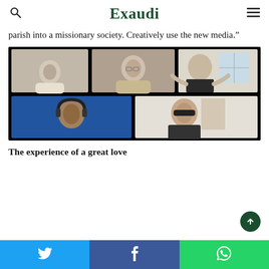Exaudi
parish into a missionary society. Creatively use the new media.”
[Figure (photo): Video call screenshot showing 5 participants in a 2-row grid: top row has 3 people (young man on left, young woman with glasses in center, older man in dark clothing on right gesturing); bottom row has 2 people (man with headphones on left against blue background, woman with sunglasses on right).]
The experience of a great love